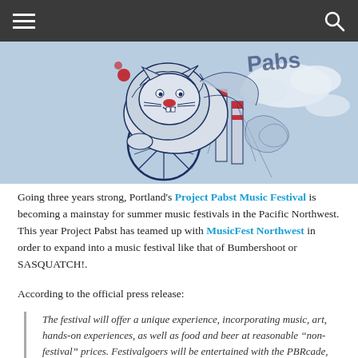Navigation bar with hamburger menu and search icon
[Figure (illustration): Colorful illustrated artwork featuring a lion on a unicycle with Pabst brewery smokestacks in the background, blue and white color scheme with red accents, partial text 'Pabst' visible]
Going three years strong, Portland’s Project Pabst Music Festival is becoming a mainstay for summer music festivals in the Pacific Northwest. This year Project Pabst has teamed up with MusicFest Northwest in order to expand into a music festival like that of Bumbershoot or SASQUATCH!.
According to the official press release:
The festival will offer a unique experience, incorporating music, art, hands-on experiences, as well as food and beer at reasonable “non-festival” prices. Festivalgoers will be entertained with the PBRcade, PBR Vandalism, and